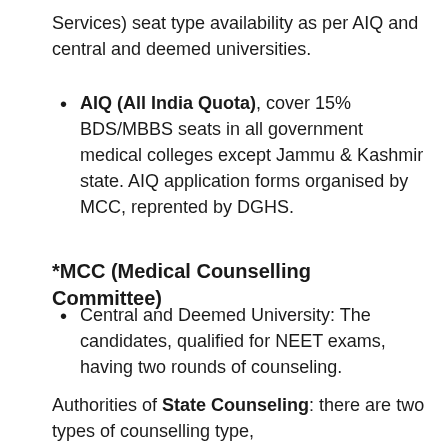Services) seat type availability as per AIQ and central and deemed universities.
AIQ (All India Quota), cover 15% BDS/MBBS seats in all government medical colleges except Jammu & Kashmir state. AIQ application forms organised by MCC, reprented by DGHS.
*MCC (Medical Counselling Committee)
Central and Deemed University: The candidates, qualified for NEET exams, having two rounds of counseling.
Authorities of State Counseling: there are two types of counselling type,